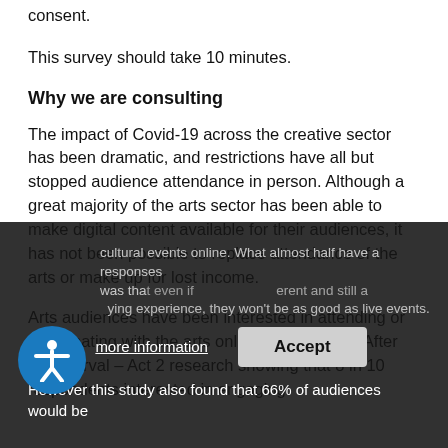consent.
This survey should take 10 minutes.
Why we are consulting
The impact of Covid-19 across the creative sector has been dramatic, and restrictions have all but stopped audience attendance in person. Although a great majority of the arts sector has been able to make digital content available for their audiences, it has not been possible to replace attendance of the arts or make up for lost income.
Arts audiences have been interested in attending or participating with the arts online; with Thrive's After the Interval – Act 2 research showing that 8 in 10 respondents interested in engaging with cultural events online. What almost half have a responses was that even if events are different and still a satisfying experience, they won't be as good as live events. However this study also found that 66% of audiences would be